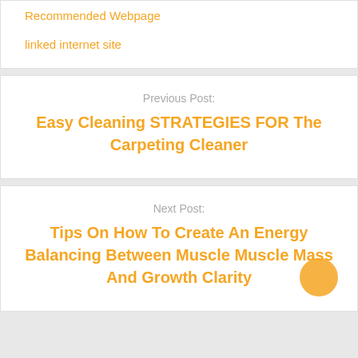Recommended Webpage
linked internet site
Previous Post:
Easy Cleaning STRATEGIES FOR The Carpeting Cleaner
Next Post:
Tips On How To Create An Energy Balancing Between Muscle Muscle Mass And Growth Clarity